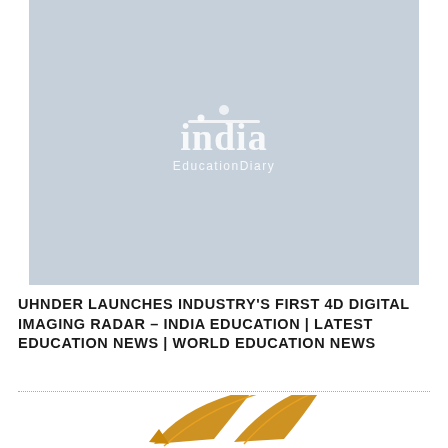[Figure (logo): India EducationDiary logo on a light blue-grey rectangular banner background]
UHNDER LAUNCHES INDUSTRY'S FIRST 4D DIGITAL IMAGING RADAR – INDIA EDUCATION | LATEST EDUCATION NEWS | WORLD EDUCATION NEWS
[Figure (logo): Partial India EducationDiary logo (bird/swoosh mark in gold/amber color) at bottom of page, partially cropped]